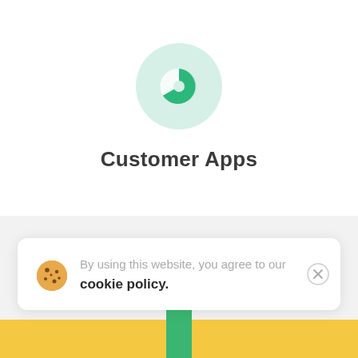[Figure (illustration): A pie chart icon inside a light green circle, showing approximately one quarter filled in dark green and the rest in light grey/white, representing 'Customer Apps'.]
Customer Apps
By using this website, you agree to our cookie policy.